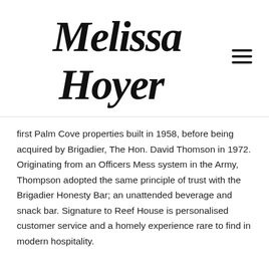[Figure (logo): Melissa Hoyer cursive/handwritten script logo in black]
first Palm Cove properties built in 1958, before being acquired by Brigadier, The Hon. David Thomson in 1972. Originating from an Officers Mess system in the Army, Thompson adopted the same principle of trust with the Brigadier Honesty Bar; an unattended beverage and snack bar. Signature to Reef House is personalised customer service and a homely experience rare to find in modern hospitality.